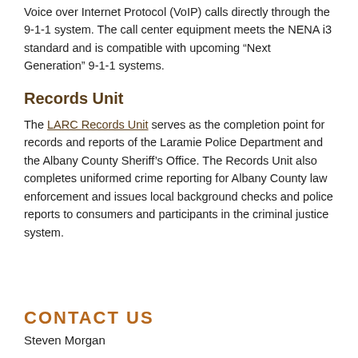Voice over Internet Protocol (VoIP) calls directly through the 9-1-1 system. The call center equipment meets the NENA i3 standard and is compatible with upcoming “Next Generation” 9-1-1 systems.
Records Unit
The LARC Records Unit serves as the completion point for records and reports of the Laramie Police Department and the Albany County Sheriff’s Office. The Records Unit also completes uniformed crime reporting for Albany County law enforcement and issues local background checks and police reports to consumers and participants in the criminal justice system.
CONTACT US
Steven Morgan